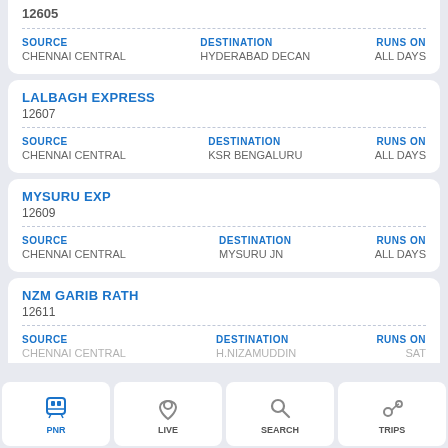12605
SOURCE: CHENNAI CENTRAL | DESTINATION: HYDERABAD DECAN | RUNS ON: ALL DAYS
LALBAGH EXPRESS
12607
SOURCE: CHENNAI CENTRAL | DESTINATION: KSR BENGALURU | RUNS ON: ALL DAYS
MYSURU EXP
12609
SOURCE: CHENNAI CENTRAL | DESTINATION: MYSURU JN | RUNS ON: ALL DAYS
NZM GARIB RATH
12611
SOURCE: CHENNAI CENTRAL | DESTINATION: H.NIZAMUDDIN | RUNS ON: SAT
PNR | LIVE | SEARCH | TRIPS